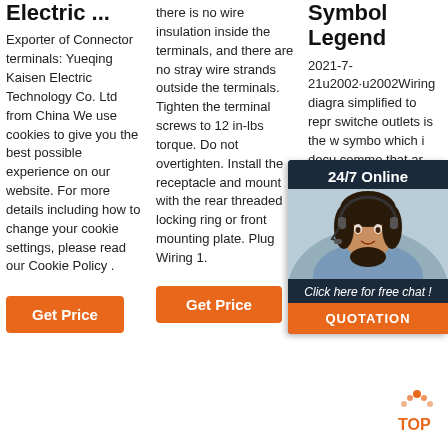Electric ...
Exporter of Connector terminals: Yueqing Kaisen Electric Technology Co. Ltd from China We use cookies to give you the best possible experience on our website. For more details including how to change your cookie settings, please read our Cookie Policy .
Get Price
there is no wire insulation inside the terminals, and there are no stray wire strands outside the terminals. Tighten the terminal screws to 12 in-lbs torque. Do not overtighten. Install the receptacle and mount with the rear threaded locking ring or front mounting plate. Plug Wiring 1.
Get Price
Symbol Legend
2021-7-21u2002·u2002Wiring diagrams simplified to represent switches, outlets is the w symbo which i docu commo that ar wiring diagrams, home wiring plans, and electrical wiring blueprints.
[Figure (infographic): Chat overlay with '24/7 Online' header, photo of woman with headset, 'Click here for free chat!' text, and orange QUOTATION button]
[Figure (logo): Orange TOP button with dotted triangle icon at bottom right]
Get Price